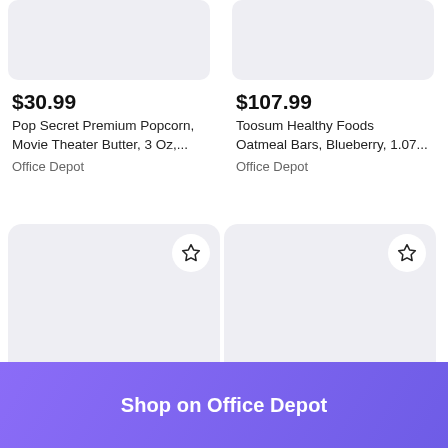[Figure (screenshot): Product image placeholder - light gray rounded rectangle for Pop Secret Premium Popcorn]
$30.99
Pop Secret Premium Popcorn, Movie Theater Butter, 3 Oz,...
Office Depot
[Figure (screenshot): Product image placeholder - light gray rounded rectangle for Toosum Healthy Foods Oatmeal Bars]
$107.99
Toosum Healthy Foods Oatmeal Bars, Blueberry, 1.07...
Office Depot
[Figure (screenshot): Product card placeholder with star/favorite icon - bottom left]
[Figure (screenshot): Product card placeholder with star/favorite icon - bottom right]
Shop on Office Depot